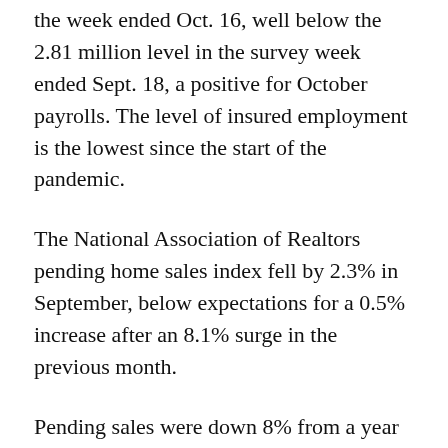the week ended Oct. 16, well below the 2.81 million level in the survey week ended Sept. 18, a positive for October payrolls. The level of insured employment is the lowest since the start of the pandemic.
The National Association of Realtors pending home sales index fell by 2.3% in September, below expectations for a 0.5% increase after an 8.1% surge in the previous month.
Pending sales were down 8% from a year earlier when the housing market was recovering from the lockdowns that spring.
“Contract transactions slowed a bit in September and are showing signs of a calmer home price trend, as the market is running comfortably ahead of pre-pandemic activity,” NAR Chief Economist Lawrence Yun said, adding that tight inventory could delay some home